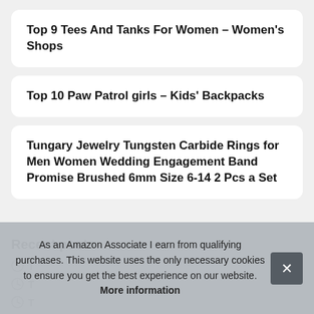Top 9 Tees And Tanks For Women – Women's Shops
Top 10 Paw Patrol girls – Kids' Backpacks
Tungary Jewelry Tungsten Carbide Rings for Men Women Wedding Engagement Band Promise Brushed 6mm Size 6-14 2 Pcs a Set
Recent posts
T
T
T
As an Amazon Associate I earn from qualifying purchases. This website uses the only necessary cookies to ensure you get the best experience on our website. More information